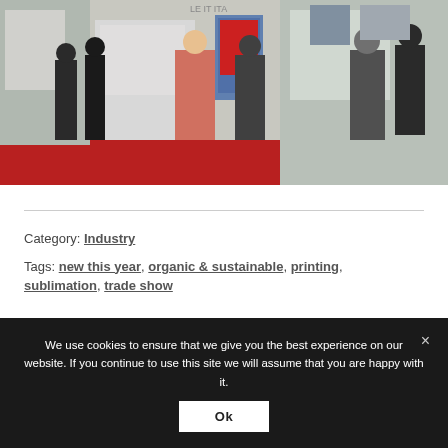[Figure (photo): Trade show floor photo showing people at exhibition booths with displays, screens, and red carpet flooring]
Category: Industry
Tags: new this year, organic & sustainable, printing, sublimation, trade show
We use cookies to ensure that we give you the best experience on our website. If you continue to use this site we will assume that you are happy with it.